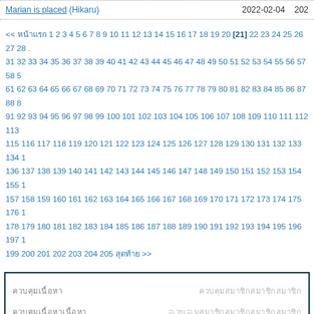Marian is placed (Hikaru)   2022-02-04   202...
<< หน้าแรก 1 2 3 4 5 6 7 8 9 10 11 12 13 14 15 16 17 18 19 20 [21] 22 23 24 25 26 27 28 ... 31 32 33 34 35 36 37 38 39 40 41 42 43 44 45 46 47 48 49 50 51 52 53 54 55 56 57 58 5... 61 62 63 64 65 66 67 68 69 70 71 72 73 74 75 76 77 78 79 80 81 82 83 84 85 86 87 88 8... 91 92 93 94 95 96 97 98 99 100 101 102 103 104 105 106 107 108 109 110 111 112 113... 115 116 117 118 119 120 121 122 123 124 125 126 127 128 129 130 131 132 133 134 1... 136 137 138 139 140 141 142 143 144 145 146 147 148 149 150 151 152 153 154 155 1... 157 158 159 160 161 162 163 164 165 166 167 168 169 170 171 172 173 174 175 176 1... 178 179 180 181 182 183 184 185 186 187 188 189 190 191 192 193 194 195 196 197 1... 199 200 201 202 203 204 205 สุดท้าย >>
|  |  |
| --- | --- |
| ควบคุมเนื้อหา | ควบคุมสมาชิกสมาชิกสมาชิก |
| ควบคุมเนื้อหาเนื้อหา | ควบคุมสมาชิกสมาชิกสมาชิกสมาชิก |
| ควบคุมเนื้อหาเนื้อหา | ควบคุมสมาชิกสมาชิกสมาชิกสมาชิก |
Copyright © 2010 All Rights Re...
ติดต่อ ควบคุมสมาชิกสมาชิกสมาชิกสมาชิก ต... ควบคุมเนื้อหา อีเมล–ควบคุมเนื้อหา สมาชิก tongtham.n@h...